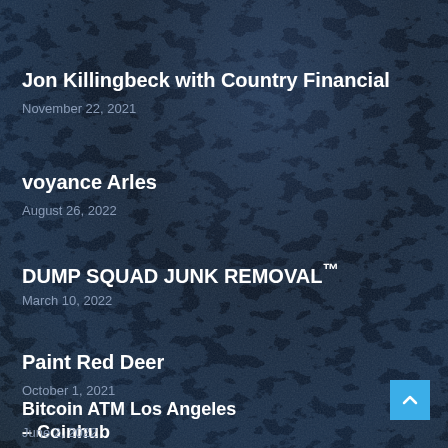Jon Killingbeck with Country Financial
November 22, 2021
voyance Arles
August 26, 2022
DUMP SQUAD JUNK REMOVAL™
March 10, 2022
Paint Red Deer
October 1, 2021
Bitcoin ATM Los Angeles – Coinhub
June 2, 2022